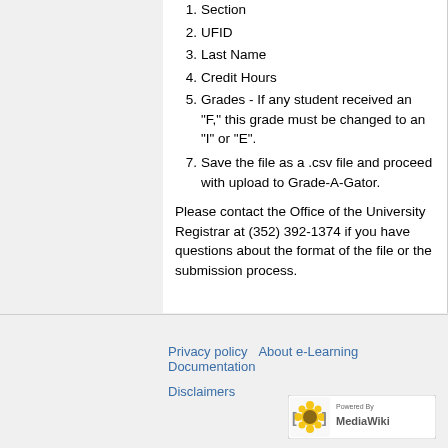1. Section
2. UFID
3. Last Name
4. Credit Hours
5. Grades - If any student received an "F," this grade must be changed to an "I" or "E".
7. Save the file as a .csv file and proceed with upload to Grade-A-Gator.
Please contact the Office of the University Registrar at (352) 392-1374 if you have questions about the format of the file or the submission process.
Privacy policy   About e-Learning Documentation   Disclaimers